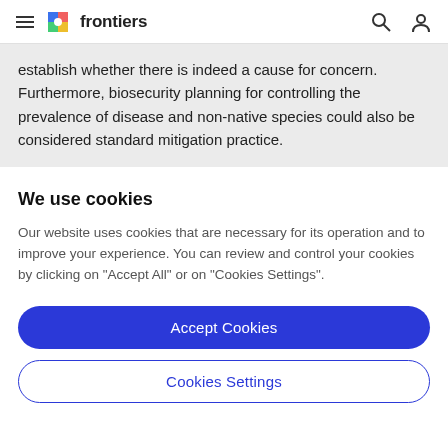frontiers
establish whether there is indeed a cause for concern. Furthermore, biosecurity planning for controlling the prevalence of disease and non-native species could also be considered standard mitigation practice.
We use cookies
Our website uses cookies that are necessary for its operation and to improve your experience. You can review and control your cookies by clicking on "Accept All" or on "Cookies Settings".
Accept Cookies
Cookies Settings